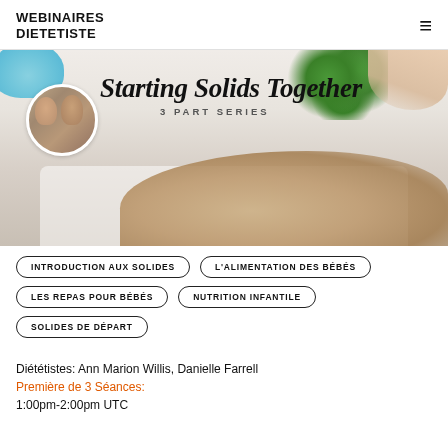WEBINAIRES DIETETISTE
[Figure (photo): Hero image for 'Starting Solids Together 3 Part Series' webinar. Shows a baby's hand reaching for broccoli on a white tray, with a blue bowl in the upper left. A circular profile photo of two women is overlaid on the left side. Cursive text reads 'Starting Solids Together' with '3 PART SERIES' below in sans-serif.]
INTRODUCTION AUX SOLIDES
L'ALIMENTATION DES BÉBÉS
LES REPAS POUR BÉBÉS
NUTRITION INFANTILE
SOLIDES DE DÉPART
Diététistes: Ann Marion Willis, Danielle Farrell
Première de 3 Séances:
1:00pm-2:00pm UTC